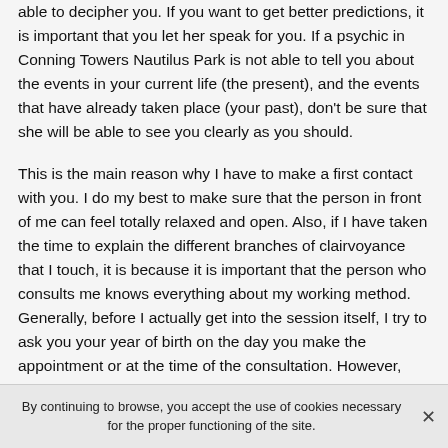able to decipher you. If you want to get better predictions, it is important that you let her speak for you. If a psychic in Conning Towers Nautilus Park is not able to tell you about the events in your current life (the present), and the events that have already taken place (your past), don't be sure that she will be able to see you clearly as you should.
This is the main reason why I have to make a first contact with you. I do my best to make sure that the person in front of me can feel totally relaxed and open. Also, if I have taken the time to explain the different branches of clairvoyance that I touch, it is because it is important that the person who consults me knows everything about my working method. Generally, before I actually get into the session itself, I try to ask you your year of birth on the day you make the appointment or at the time of the consultation. However, beware of psychics in Conning
By continuing to browse, you accept the use of cookies necessary for the proper functioning of the site.